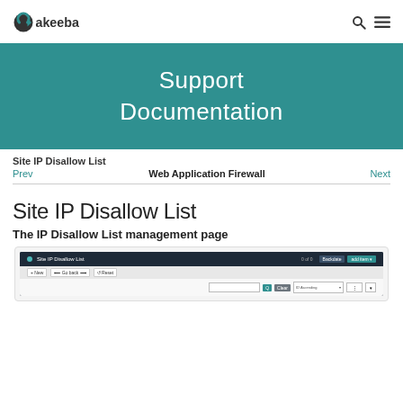Akeeba [logo] — navigation header with search and menu icons
[Figure (screenshot): Teal hero banner with text 'Support Documentation']
Support Documentation
Site IP Disallow List
Prev   Web Application Firewall   Next
Site IP Disallow List
The IP Disallow List management page
[Figure (screenshot): Screenshot of the Site IP Disallow List admin page showing the management interface with a toolbar containing New, Delete, and Reset buttons, plus a search bar and filter dropdowns.]